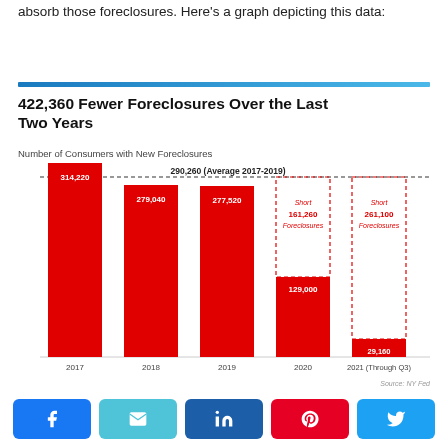absorb those foreclosures. Here's a graph depicting this data:
[Figure (bar-chart): 422,360 Fewer Foreclosures Over the Last Two Years]
Share buttons: Facebook, Email, LinkedIn, Pinterest, Twitter